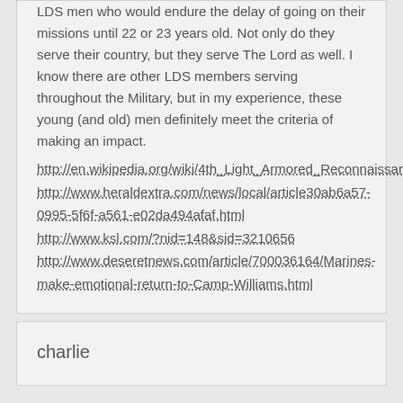LDS men who would endure the delay of going on their missions until 22 or 23 years old. Not only do they serve their country, but they serve The Lord as well. I know there are other LDS members serving throughout the Military, but in my experience, these young (and old) men definitely meet the criteria of making an impact.
http://en.wikipedia.org/wiki/4th_Light_Armored_Reconnaissance_Battalion http://www.heraldextra.com/news/local/article30ab6a57-0995-5f6f-a561-e02da494afaf.html http://www.ksl.com/?nid=148&sid=3210656 http://www.deseretnews.com/article/700036164/Marines-make-emotional-return-to-Camp-Williams.html
charlie